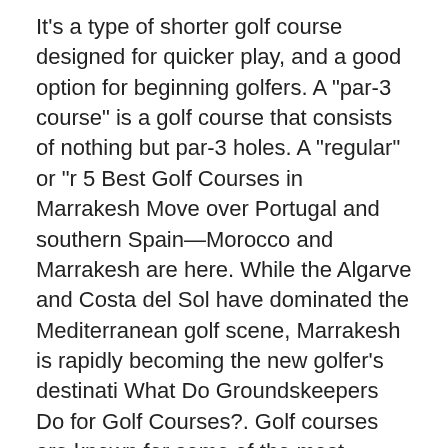It's a type of shorter golf course designed for quicker play, and a good option for beginning golfers. A "par-3 course" is a golf course that consists of nothing but par-3 holes. A "regular" or "r 5 Best Golf Courses in Marrakesh Move over Portugal and southern Spain—Morocco and Marrakesh are here. While the Algarve and Costa del Sol have dominated the Mediterranean golf scene, Marrakesh is rapidly becoming the new golfer's destinati What Do Groundskeepers Do for Golf Courses?. Golf courses are known for some of the most beautiful and lush landscapes in the world.
Altadena Golf Course. Altadena Triangle Park. Amelia Mayberry Park. Amigo Park.
Cgi strategies